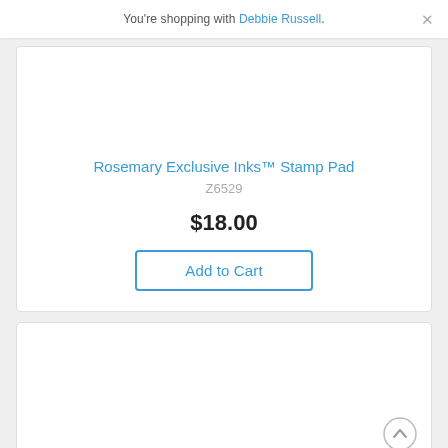You're shopping with Debbie Russell.
Rosemary Exclusive Inks™ Stamp Pad
Z6529
$18.00
Add to Cart